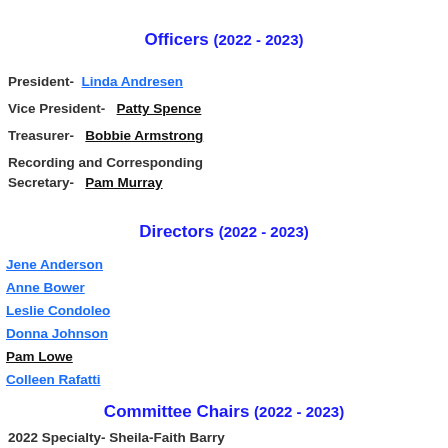Officers (2022 - 2023)
President-  Linda Andresen
Vice President-  Patty Spence
Treasurer-  Bobbie Armstrong
Recording and Corresponding Secretary-  Pam Murray
Directors (2022 - 2023)
Jene Anderson
Anne Bower
Leslie Condoleo
Donna Johnson
Pam Lowe
Colleen Rafatti
Committee Chairs (2022 - 2023)
2022 Specialty-  Sheila-Faith Barry
Annual Awards  Laurie Slater